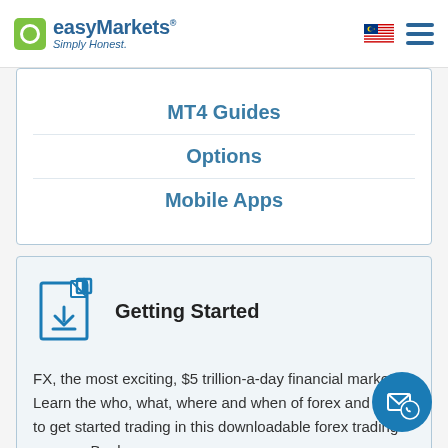easyMarkets Simply Honest.
MT4 Guides
Options
Mobile Apps
Getting Started
FX, the most exciting, $5 trillion-a-day financial market. Learn the who, what, where and when of forex and how to get started trading in this downloadable forex trading course eBook.